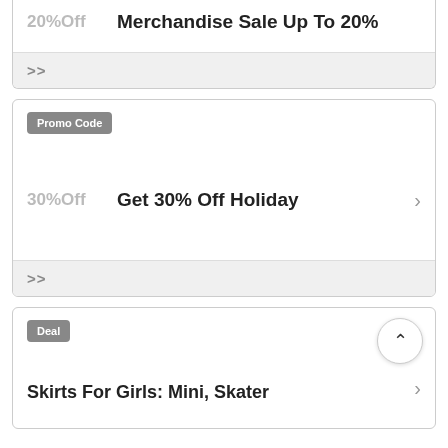20%Off
Merchandise Sale Up To 20%
>>
Promo Code
30%Off
Get 30% Off Holiday
>>
Deal
Skirts For Girls: Mini, Skater